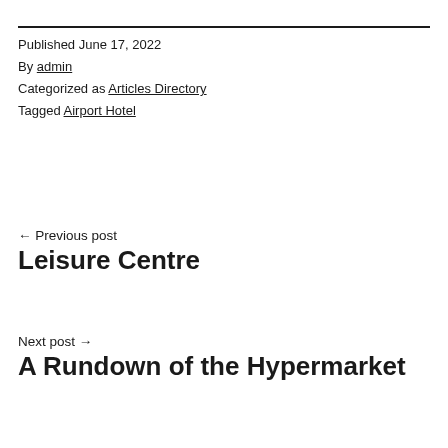Published June 17, 2022
By admin
Categorized as Articles Directory
Tagged Airport Hotel
← Previous post
Leisure Centre
Next post →
A Rundown of the Hypermarket